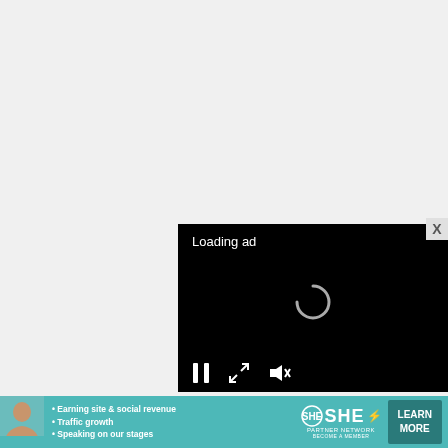Ground Beef
Salt and Pepper
Worcestershire Sauce
Carrots
Celery
Sweet Onion
Flour
Milk
Shredded Cheese
Tater Tots!
Chopped Parsley (optional for garnish)
[Figure (screenshot): Video ad overlay showing 'Loading ad' text with a spinner and media controls (pause, expand, mute) on a black background]
[Figure (infographic): Banner advertisement for SHE Partner Network showing a woman, bullet points about earning site & social revenue, traffic growth, speaking on stages, SHE logo, and a Learn More button]